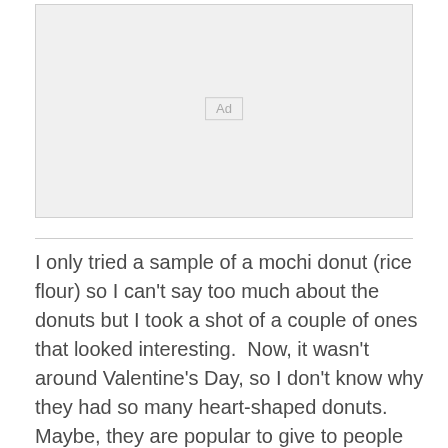[Figure (other): Advertisement placeholder box with 'Ad' label centered inside a light gray rectangle]
I only tried a sample of a mochi donut (rice flour) so I can't say too much about the donuts but I took a shot of a couple of ones that looked interesting.  Now, it wasn't around Valentine's Day, so I don't know why they had so many heart-shaped donuts.  Maybe, they are popular to give to people you like?  As for